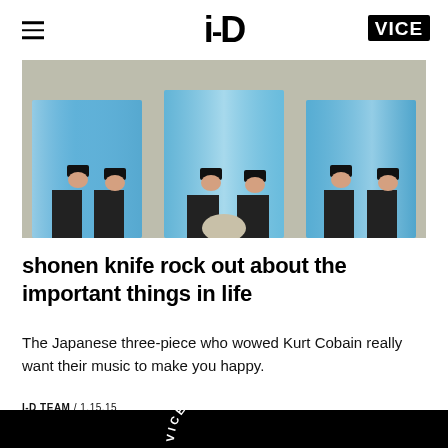i-D / VICE
[Figure (photo): Three women wearing shiny blue skirts and black wrist cuffs standing against a wall]
shonen knife rock out about the important things in life
The Japanese three-piece who wowed Kurt Cobain really want their music to make you happy.
I-D TEAM / 1.15.15
VICE MEDIA